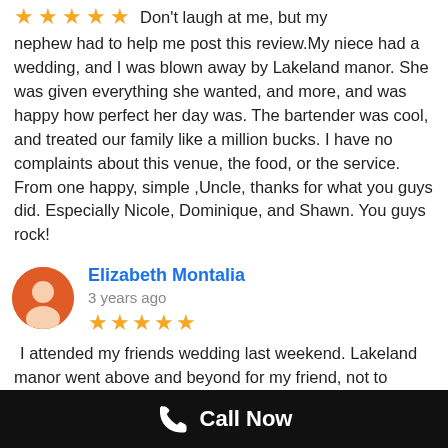Don't laugh at me, but my nephew had to help me post this review. My niece had a wedding, and I was blown away by Lakeland manor. She was given everything she wanted, and more, and was happy how perfect her day was. The bartender was cool, and treated our family like a million bucks. I have no complaints about this venue, the food, or the service. From one happy, simple ,Uncle, thanks for what you guys did. Especially Nicole, Dominique, and Shawn. You guys rock!
Elizabeth Montalia
3 years ago
I attended my friends wedding last weekend. Lakeland manor went above and beyond for my friend, not to mention she never had to worry about a thing. Dominique was a gem, and hung out with my 5 year old son during the ceremony. As a mother, I appreciated her kindness
Call Now